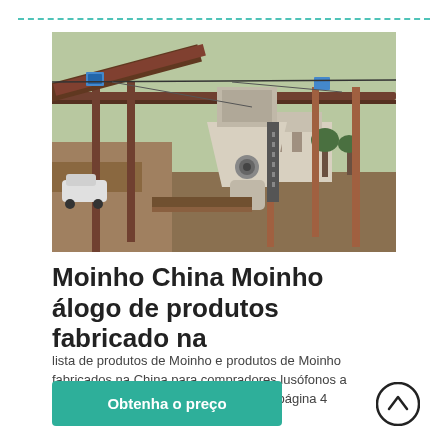[Figure (photo): Industrial milling/grinding machine installed outdoors at a Chinese manufacturing facility, with steel framework, conveyor belts, and various support columns. Buildings visible in background.]
Moinho China Moinho álogo de produtos fabricado na
lista de produtos de Moinho e produtos de Moinho fabricados na China para compradores lusófonos a comprar produtos de Moinho da China página 4
Obtenha o preço